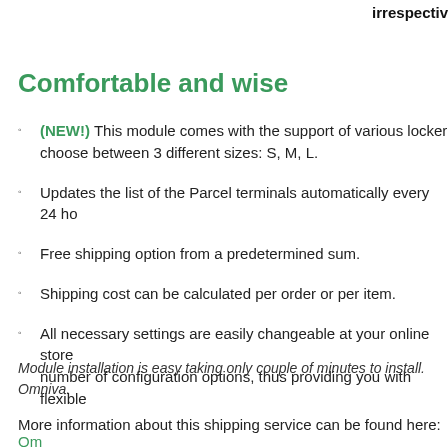irrespectiv
Comfortable and wise
(NEW!) This module comes with the support of various locker choose between 3 different sizes: S, M, L.
Updates the list of the Parcel terminals automatically every 24 ho
Free shipping option from a predetermined sum.
Shipping cost can be calculated per order or per item.
All necessary settings are easily changeable at your online store number of configuration options, thus providing you with flexible
Module installation is easy taking only couple of minutes to install. Omniva.
More information about this shipping service can be found here: Om